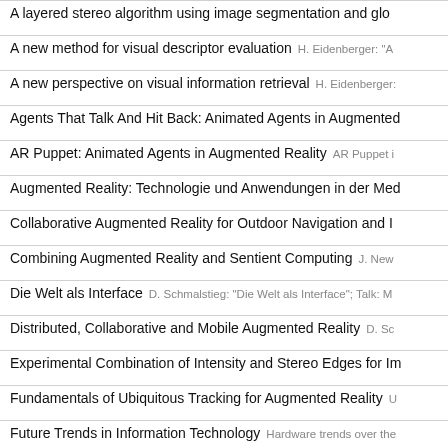A layered stereo algorithm using image segmentation and glo...
A new method for visual descriptor evaluation  H. Eidenberger: "A...
A new perspective on visual information retrieval  H. Eidenberger:...
Agents That Talk And Hit Back: Animated Agents in Augmented...
AR Puppet: Animated Agents in Augmented Reality  AR Puppet...
Augmented Reality: Technologie und Anwendungen in der Med...
Collaborative Augmented Reality for Outdoor Navigation and I...
Combining Augmented Reality and Sentient Computing  J. New...
Die Welt als Interface  D. Schmalstieg: "Die Welt als Interface"; Talk: M...
Distributed, Collaborative and Mobile Augmented Reality  D. Sc...
Experimental Combination of Intensity and Stereo Edges for Im...
Fundamentals of Ubiquitous Tracking for Augmented Reality  U...
Future Trends in Information Technology  Hardware trends over the...
Image-Based Stereoscopic Painterly Rendering  We present a ne...
Mobile Anwendungen von Augmented Reality  D. Schmalstieg: "M...
Mobile Augmented Reality  D. Schmalstieg: "Mobile Augmented Real...
Recognition of Object Contours from Stereo Images: an Edge C...
Remote Collaboration Using Augmented Reality Videoconferen...
SMIb and SVG...